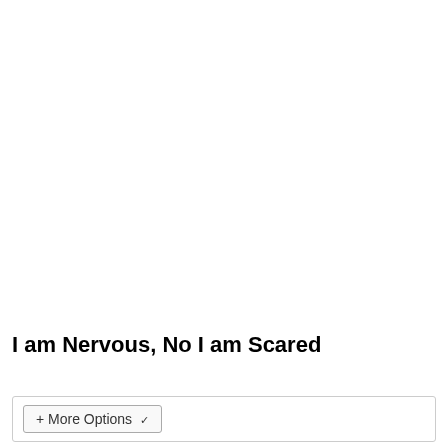I am Nervous, No I am Scared
+ More Options